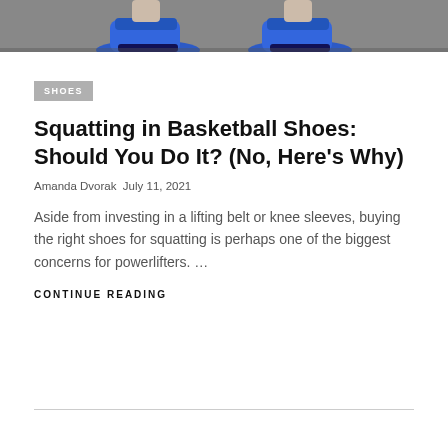[Figure (photo): Cropped photo of blue basketball/athletic shoes viewed from below, on a gray concrete surface. Only the lower legs and shoes are visible.]
SHOES
Squatting in Basketball Shoes: Should You Do It? (No, Here’s Why)
Amanda Dvorak July 11, 2021
Aside from investing in a lifting belt or knee sleeves, buying the right shoes for squatting is perhaps one of the biggest concerns for powerlifters. …
CONTINUE READING